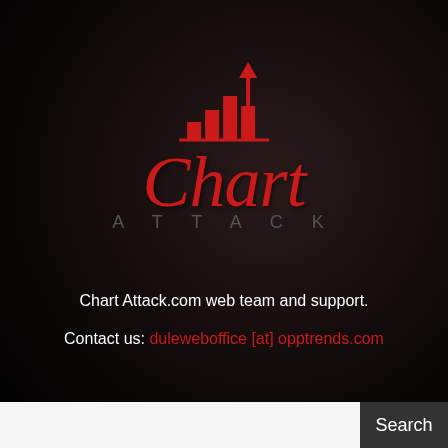[Figure (logo): Chart Attack logo: red bar chart icon with upward arrow, red italic 'Chart' text, grey spaced uppercase 'ATTACK' text below]
Chart Attack.com web team and support.
Contact us: duleweboffice [at] opptrends.com